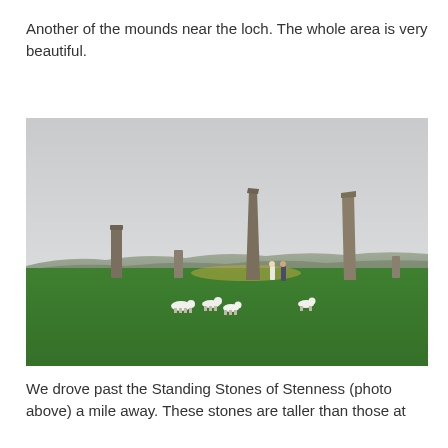Another of the mounds near the loch. The whole area is very beautiful.
[Figure (photo): Photograph of the Standing Stones of Stenness in Orkney, Scotland. Several tall standing stones are visible in a green field under an overcast grey sky. Two people stand near the stones for scale. Sheep are visible grazing in the foreground on bright green grass. Rolling hills are visible in the background.]
We drove past the Standing Stones of Stenness (photo above) a mile away. These stones are taller than those at